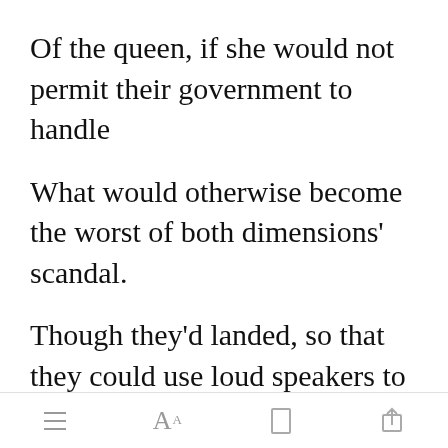Of the queen, if she would not permit their government to handle
What would otherwise become the worst of both dimensions' scandal.
Though they'd landed, so that they could use loud speakers to announce
[Figure (other): Green 'Open in app' button]
Their intentions. US Air Force still
App navigation bar with menu, font, bookmark, and share icons